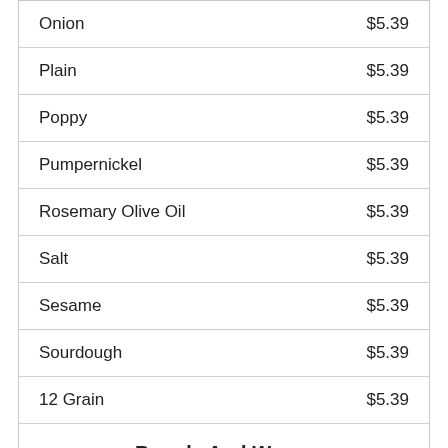| Item | Price |
| --- | --- |
| Onion | $5.39 |
| Plain | $5.39 |
| Poppy | $5.39 |
| Pumpernickel | $5.39 |
| Rosemary Olive Oil | $5.39 |
| Salt | $5.39 |
| Sesame | $5.39 |
| Sourdough | $5.39 |
| 12 Grain | $5.39 |
| Breads And Wraps |  |
| Ciabatta Roll | $4.39 |